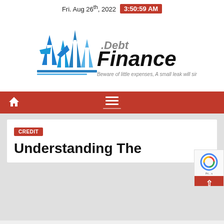Fri. Aug 26th, 2022  3:50:59 AM
[Figure (logo): Debt Finance logo with blue arrows/finance icons and text 'Debt Finance' with tagline 'Beware of little expenses, A small leak will sink a great ship.']
[Figure (other): Red navigation bar with home icon on left and hamburger menu in center]
CREDIT
Understanding The